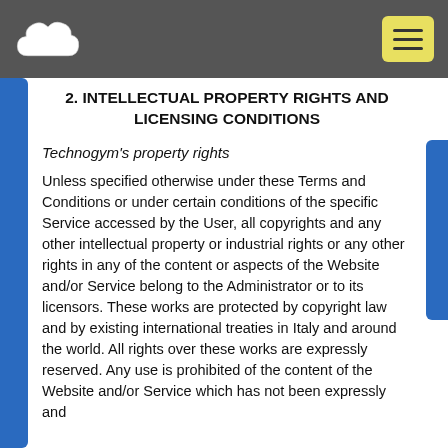Navigation bar with cloud logo and hamburger menu
2. INTELLECTUAL PROPERTY RIGHTS AND LICENSING CONDITIONS
Technogym's property rights
Unless specified otherwise under these Terms and Conditions or under certain conditions of the specific Service accessed by the User, all copyrights and any other intellectual property or industrial rights or any other rights in any of the content or aspects of the Website and/or Service belong to the Administrator or to its licensors. These works are protected by copyright law and by existing international treaties in Italy and around the world. All rights over these works are expressly reserved. Any use is prohibited of the content of the Website and/or Service which has not been expressly and